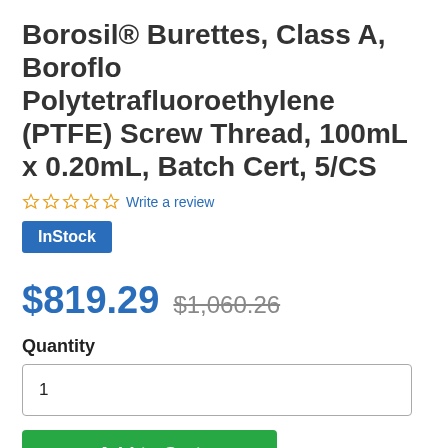Borosil® Burettes, Class A, Boroflo Polytetrafluoroethylene (PTFE) Screw Thread, 100mL x 0.20mL, Batch Cert, 5/CS
☆☆☆☆☆ Write a review
InStock
$819.29  $1,060.26
Quantity
1
Add to Cart